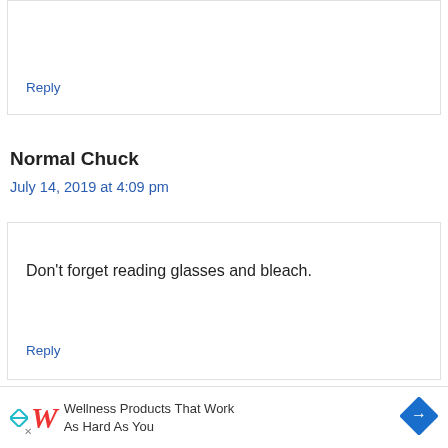Reply
Normal Chuck
July 14, 2019 at 4:09 pm
Don't forget reading glasses and bleach.
Reply
Wellness Products That Work As Hard As You